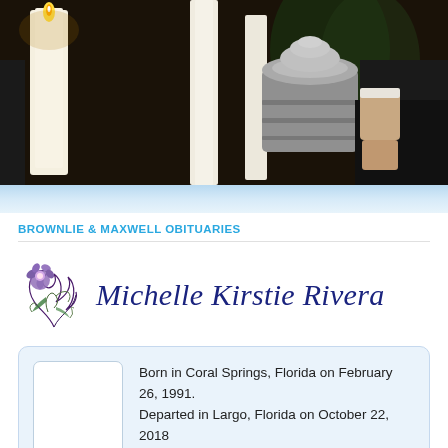[Figure (photo): Funeral scene showing candles and a person holding a metallic urn]
BROWNLIE & MAXWELL OBITUARIES
Michelle Kirstie Rivera
Born in Coral Springs, Florida on February 26, 1991. Departed in Largo, Florida on October 22, 2018